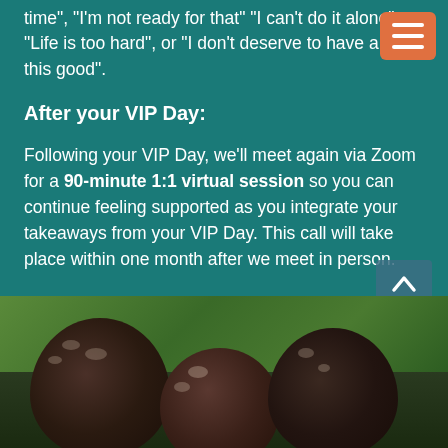time", "I'm not ready for that" "I can't do it alone", "Life is too hard", or "I don't deserve to have a life this good".
After your VIP Day:
Following your VIP Day, we'll meet again via Zoom for a 90-minute 1:1 virtual session so you can continue feeling supported as you integrate your takeaways from your VIP Day. This call will take place within one month after we meet in person.
[Figure (photo): Photo of two or three people seen from behind/above, with dark hair and green foliage in the background]